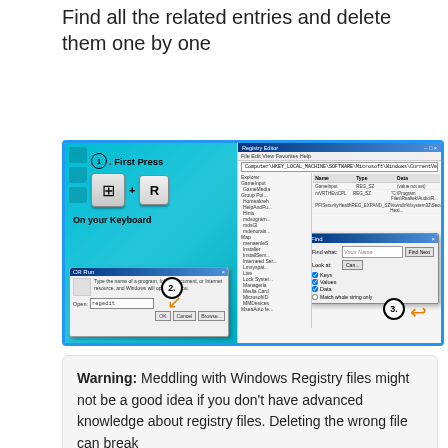Find all the related entries and delete them one by one
[Figure (screenshot): Step-by-step Windows Registry tutorial screenshot showing: (1) Press Windows key + R on keyboard, (2) Run dialog with 'regedit' typed, (3) Registry Editor with Find dialog open searching for 'Virus Name']
Warning: Meddling with Windows Registry files might not be a good idea if you don't have advanced knowledge about registry files. Deleting the wrong file can break